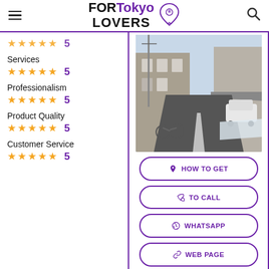FOR Tokyo LOVERS
Services ★★★★★ 5
Professionalism ★★★★★ 5
Product Quality ★★★★★ 5
Customer Service ★★★★★ 5
[Figure (photo): Street view photo showing a narrow Japanese street with buildings on the sides, a white car parked, and a bicycle in the foreground]
HOW TO GET
TO CALL
WHATSAPP
WEB PAGE